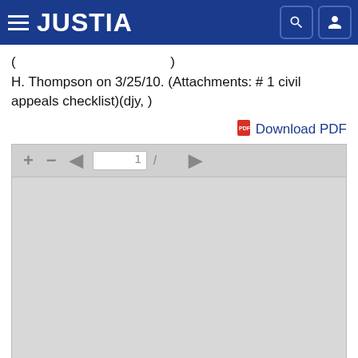JUSTIA
( ... ) H. Thompson on 3/25/10. (Attachments: # 1 civil appeals checklist)(djy, )
Download PDF
[Figure (screenshot): PDF viewer toolbar with +, -, back arrow, page number input showing 1, forward slash, and forward arrow controls, followed by a blank gray PDF content area.]